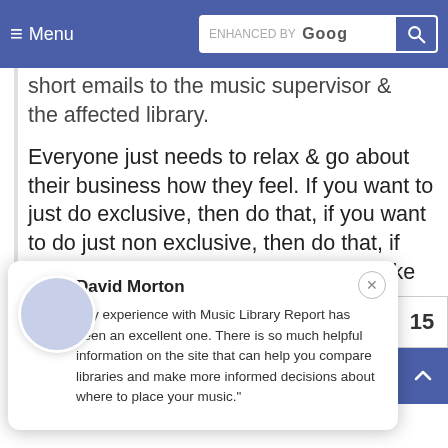≡ Menu | ENHANCED BY Google [search]
short emails to the music supervisor & the affected library.
Everyone just needs to relax & go about their business how they feel. If you want to just do exclusive, then do that, if you want to do just non exclusive, then do that, if you want to do a mix, then do that. Make your decision & own it.
For the record, I do both exclusive & non exclusive & also deal directly with music supervisors. I have had the
David Morton
"My experience with Music Library Report has been an excellent one. There is so much helpful information on the site that can help you compare libraries and make more informed decisions about where to place your music."